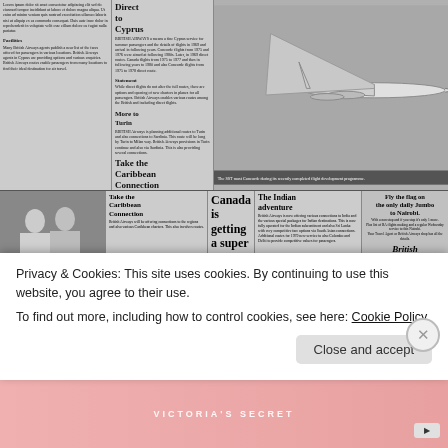[Figure (screenshot): Scanned newspaper page showing multiple articles about British Airways travel including 'Direct to Cyprus', 'More to Turin', 'Take the Caribbean Connection', 'Canada is getting a super service', 'A Flying Start to Marriage', 'The Indian adventure', 'Fly the flag on the only daily Jumbo to Nairobi', 'Inflation can't hurt these holidays', and a Concorde aircraft photograph at top right.]
Privacy & Cookies: This site uses cookies. By continuing to use this website, you agree to their use.
To find out more, including how to control cookies, see here: Cookie Policy
[Figure (other): Close and accept button UI element]
[Figure (other): Victoria's Secret advertisement banner at bottom]